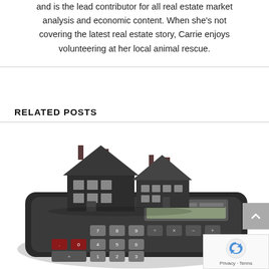and is the lead contributor for all real estate market analysis and economic content. When she's not covering the latest real estate story, Carrie enjoys volunteering at her local animal rescue.
RELATED POSTS
[Figure (photo): A miniature model house sitting on top of a physical calculator, with visible calculator keys including numbers 0, 3, 5 and operation keys. The house is dark grey/black with white window details and two chimneys. The image is on a white background.]